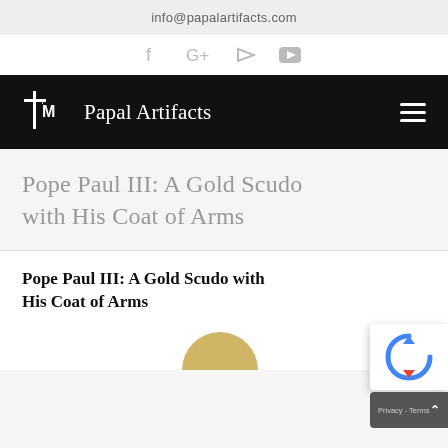info@papalartifacts.com
[Figure (other): Social media icons: Facebook, Google+, RSS feed, YouTube]
[Figure (logo): Papal Artifacts logo with cross/TM symbol on black navigation bar]
Pope Paul III: A Gold Scudo with His Coat of Arms
Pope Paul III: A Gold Scudo with His Coat of Arms
[Figure (photo): Partial view of a gold coin (scudo) at the bottom of the page]